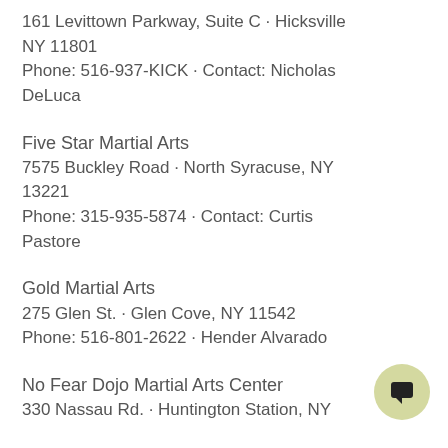161 Levittown Parkway, Suite C · Hicksville NY 11801
Phone: 516-937-KICK · Contact: Nicholas DeLuca
Five Star Martial Arts
7575 Buckley Road · North Syracuse, NY 13221
Phone: 315-935-5874 · Contact: Curtis Pastore
Gold Martial Arts
275 Glen St. · Glen Cove, NY 11542
Phone: 516-801-2622 · Hender Alvarado
No Fear Dojo Martial Arts Center
330 Nassau Rd. · Huntington Station, NY